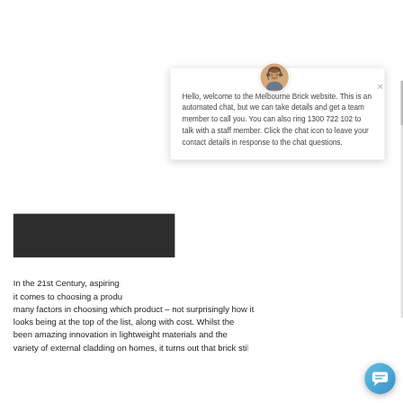[Figure (screenshot): Screenshot of a website chat popup overlay on a webpage. The popup shows a customer service chat widget with an avatar of a person wearing a headset, a close button (×), and a welcome message from Melbourne Brick website. Below the popup, partial page text is visible, and a teal chat bubble button is in the bottom right corner.]
Hello, welcome to the Melbourne Brick website. This is an automated chat, but we can take details and get a team member to call you. You can also ring 1300 722 102 to talk with a staff member. Click the chat icon to leave your contact details in response to the chat questions.
In the 21st Century, aspiring it comes to choosing a produ many factors in choosing which product – not surprisingly how it looks being at the top of the list, along with cost. Whilst the been amazing innovation in lightweight materials and the variety of external cladding on homes, it turns out that brick stil